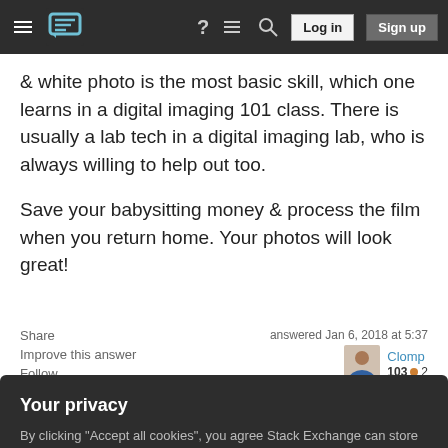Stack Exchange navigation bar with hamburger menu, logo, help, chat, search icons, Log in and Sign up buttons
& white photo is the most basic skill, which one learns in a digital imaging 101 class. There is usually a lab tech in a digital imaging lab, who is always willing to help out too.

Save your babysitting money & process the film when you return home. Your photos will look great!
Share   Improve this answer   Follow
answered Jan 6, 2018 at 5:37
Clomp
103 ● 2
Add a comment
Your privacy
By clicking "Accept all cookies", you agree Stack Exchange can store cookies on your device and disclose information in accordance with our Cookie Policy.
Accept all cookies   Customize settings